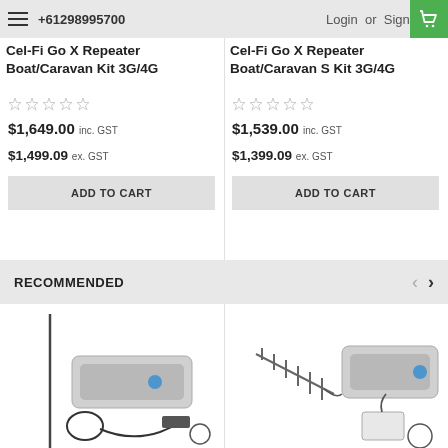+61298995700  Login or Sign Up
Cel-Fi Go X Repeater Boat/Caravan Kit 3G/4G
$1,649.00 inc. GST
$1,499.09 ex. GST
ADD TO CART
Cel-Fi Go X Repeater Boat/Caravan S Kit 3G/4G
$1,539.00 inc. GST
$1,399.09 ex. GST
ADD TO CART
RECOMMENDED
[Figure (photo): Cel-Fi Go X Repeater product kit with antenna and cables]
[Figure (photo): Cel-Fi Go X Repeater S product kit with antenna and accessories]